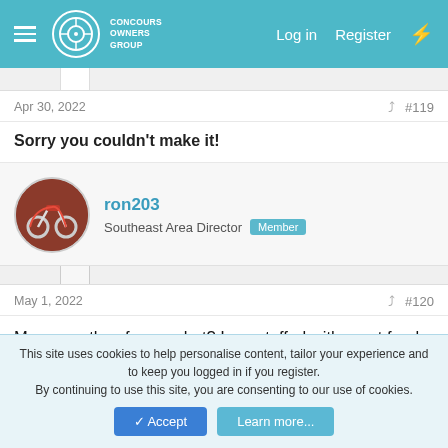Concours Owners Group — Log in | Register
Apr 30, 2022  #119
Sorry you couldn't make it!
ron203 — Southeast Area Director  Member
May 1, 2022  #120
Man, was they fun or what? I am stuffed with great food, slept like a rock (except for a persistent whippoorwill who woke me up this morning). Saw lots of fun people and nice roads. I'm home and ready to go again.
This site uses cookies to help personalise content, tailor your experience and to keep you logged in if you register.
By continuing to use this site, you are consenting to our use of cookies.